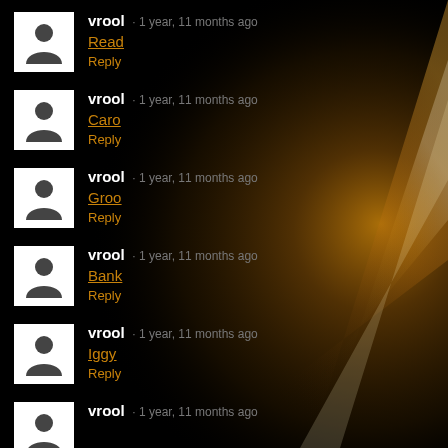vrool · 1 year, 11 months ago
Read
Reply
vrool · 1 year, 11 months ago
Caro
Reply
vrool · 1 year, 11 months ago
Groo
Reply
vrool · 1 year, 11 months ago
Bank
Reply
vrool · 1 year, 11 months ago
Iggy
Reply
vrool · 1 year, 11 months ago